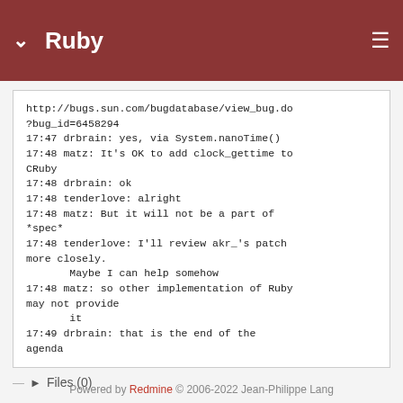Ruby
http://bugs.sun.com/bugdatabase/view_bug.do?bug_id=6458294
17:47 drbrain: yes, via System.nanoTime()
17:48 matz: It's OK to add clock_gettime to CRuby
17:48 drbrain: ok
17:48 tenderlove: alright
17:48 matz: But it will not be a part of *spec*
17:48 tenderlove: I'll review akr_'s patch more closely.
       Maybe I can help somehow
17:48 matz: so other implementation of Ruby may not provide
       it
17:49 drbrain: that is the end of the agenda
Files (0)
Powered by Redmine © 2006-2022 Jean-Philippe Lang